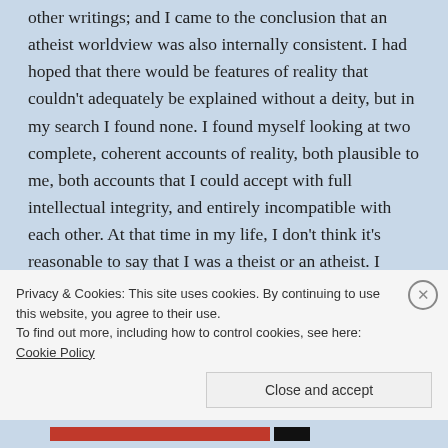other writings; and I came to the conclusion that an atheist worldview was also internally consistent. I had hoped that there would be features of reality that couldn't adequately be explained without a deity, but in my search I found none. I found myself looking at two complete, coherent accounts of reality, both plausible to me, both accounts that I could accept with full intellectual integrity, and entirely incompatible with each other. At that time in my life, I don't think it's reasonable to say that I was a theist or an atheist. I found both believable, and consequently couldn't truly
Privacy & Cookies: This site uses cookies. By continuing to use this website, you agree to their use.
To find out more, including how to control cookies, see here: Cookie Policy
Close and accept